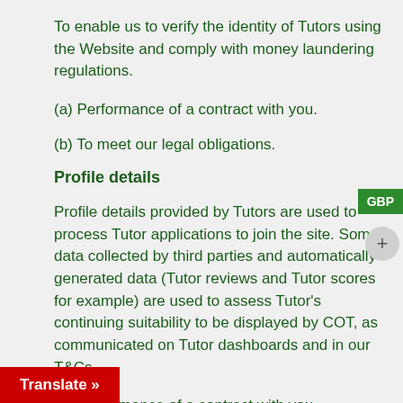To enable us to verify the identity of Tutors using the Website and comply with money laundering regulations.
(a) Performance of a contract with you.
(b) To meet our legal obligations.
Profile details
Profile details provided by Tutors are used to process Tutor applications to join the site. Some data collected by third parties and automatically generated data (Tutor reviews and Tutor scores for example) are used to assess Tutor's continuing suitability to be displayed by COT, as communicated on Tutor dashboards and in our T&Cs.
(a) Performance of a contract with you